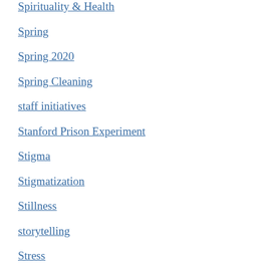Spirituality & Health
Spring
Spring 2020
Spring Cleaning
staff initiatives
Stanford Prison Experiment
Stigma
Stigmatization
Stillness
storytelling
Stress
stress reduction
Stress Response
Stress-Related Disorders
Stressed Out
Successful Above...